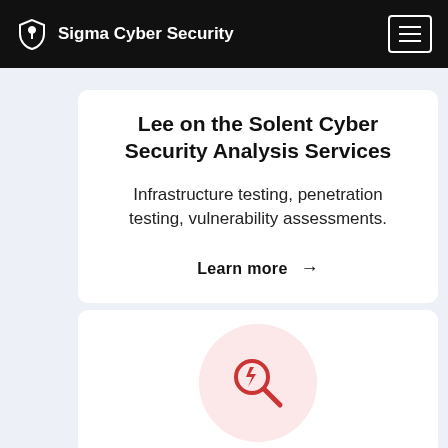Sigma Cyber Security
Lee on the Solent Cyber Security Analysis Services
Infrastructure testing, penetration testing, vulnerability assessments.
Learn more →
[Figure (illustration): Red magnifying glass with lightning bolt icon inside a light pink circle]